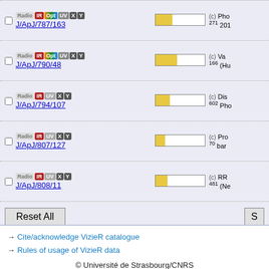| Select | Catalog | Density | Info |
| --- | --- | --- | --- |
| ☐ | J/ApJ/787/163 | [density bar] | (c) 271 Pho... 201... |
| ☐ | J/ApJ/790/48 | [density bar] | (c) 166 Va... (Hu... |
| ☐ | J/ApJ/794/107 | [density bar] | (c) 602 Dis... Pho... |
| ☐ | J/ApJ/807/127 | [density bar] | (c) 70 Pro... bar... |
| ☐ | J/ApJ/808/11 | [density bar] | (c) 481 RR... (Ne... |
Reset All
(c) in...
List of catalogs truncated to 100
Get the Full List of 724 matching ca...
→ Cite/acknowledge VizieR catalogue
→ Rules of usage of VizieR data
© Université de Strasbourg/CNRS
f  ▶  🐦  🐙 · Contact ✉